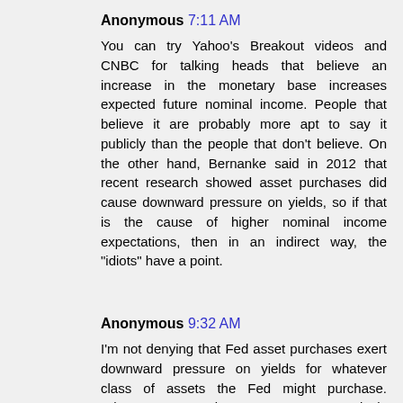Anonymous 7:11 AM
You can try Yahoo's Breakout videos and CNBC for talking heads that believe an increase in the monetary base increases expected future nominal income. People that believe it are probably more apt to say it publicly than the people that don't believe. On the other hand, Bernanke said in 2012 that recent research showed asset purchases did cause downward pressure on yields, so if that is the cause of higher nominal income expectations, then in an indirect way, the "idiots" have a point.
Anonymous 9:32 AM
I'm not denying that Fed asset purchases exert downward pressure on yields for whatever class of assets the Fed might purchase. Whenever a new, large customer aggressively enters the market for any kind of asset, the price of the asset will go up and the yields will go down.